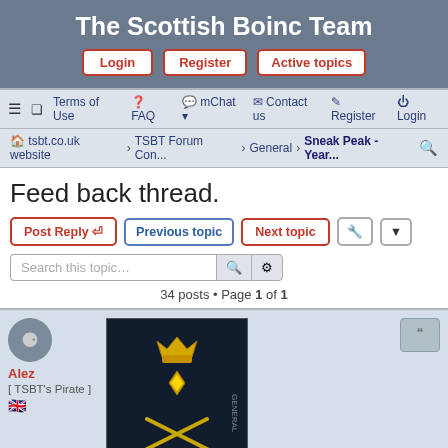The Scottish Boinc Team
Login | Register | Active topics
≡  Terms of Use  ? FAQ  mChat ▾  Contact us  Register  Login
tsbt.co.uk website › TSBT Forum Con... › General › Sneak Peak - Year...
Feed back thread.
Post Reply  Previous topic  Next topic
Search this topic…
34 posts • Page 1 of 1
Alez
[ TSBT's Pirate ]
[Figure (photo): User avatar image showing military insignia (crown, star and crossed swords) on dark background with UK flag]
#1 Feed back thread.
Thu Apr 18, 2019 10:42 pm
Provided for you to provide some feedback please.
Work in progress. Not all projects are up yet, WCC, etc.